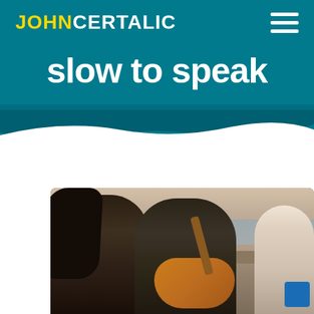JOHNCERTALIC — navigation header with hamburger menu
slow to speak
[Figure (photo): Three young women sitting on a beach at sunset. The leftmost woman has long dark hair and is holding food. The middle woman is playing an acoustic guitar. The third woman is partially visible on the right edge. The scene is bathed in warm sunset light with the ocean in the background.]